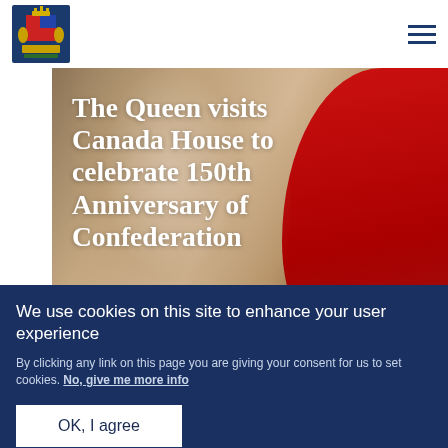Royal.uk — navigation header with royal crest logo and hamburger menu
[Figure (photo): Photo of the Queen at Canada House with a Canadian flag (red) visible in the background]
The Queen visits Canada House to celebrate 150th Anniversary of Confederation
We use cookies on this site to enhance your user experience
By clicking any link on this page you are giving your consent for us to set cookies. No, give me more info
OK, I agree